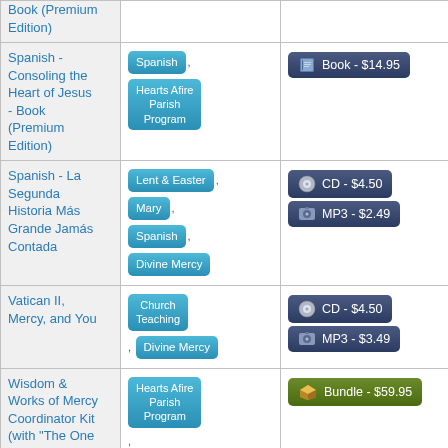| Product Name | Tags | Price Options |
| --- | --- | --- |
| Spanish - Consoling the Heart of Jesus - Book (Premium Edition) | Spanish, Hearts Afire Parish Program | Book - $14.95 |
| Spanish - La Segunda Historia Más Grande Jamás Contada | Lent & Easter, Mary, Spanish, Divine Mercy | CD - $4.50, MP3 - $2.49 |
| Vatican II, Mercy, and You | Church Teaching, Divine Mercy | CD - $4.50, MP3 - $3.49 |
| Wisdom & Works of Mercy Coordinator Kit (with "The One Thing is Three" book) | Hearts Afire Parish Program, Video Based Study Programs, Corporal | Bundle - $59.95 |